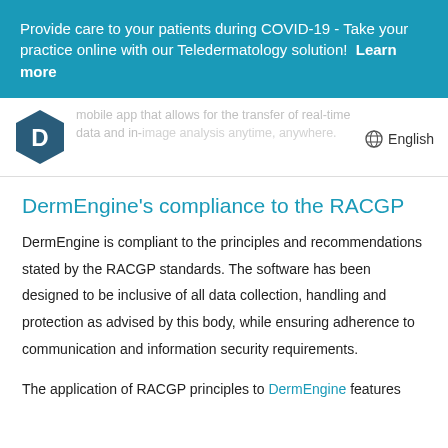Provide care to your patients during COVID-19 - Take your practice online with our Teledermatology solution!  Learn more
mobile app that allows for the transfer of real-time data and in-image analysis anytime, anywhere.
[Figure (logo): DermEngine hexagonal logo with letter D in teal/dark blue]
English
DermEngine's compliance to the RACGP
DermEngine is compliant to the principles and recommendations stated by the RACGP standards. The software has been designed to be inclusive of all data collection, handling and protection as advised by this body, while ensuring adherence to communication and information security requirements.
The application of RACGP principles to DermEngine features